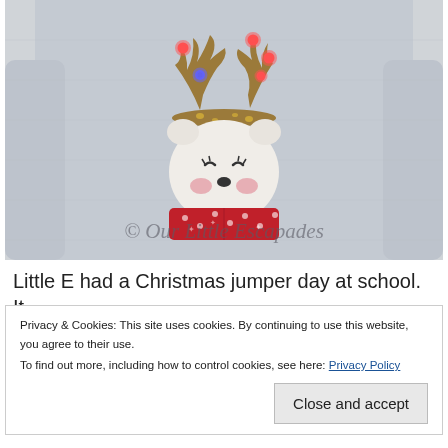[Figure (photo): A grey Christmas jumper/sweater worn by a person, featuring a cute bear face applique with rosy cheeks and closed eyes, wearing a red Nordic-pattern scarf, with sequined antlers on its head that have LED lights (red and blue) lit up on them.]
Little E had a Christmas jumper day at school. It
Privacy & Cookies: This site uses cookies. By continuing to use this website, you agree to their use.
To find out more, including how to control cookies, see here: Privacy Policy

Close and accept